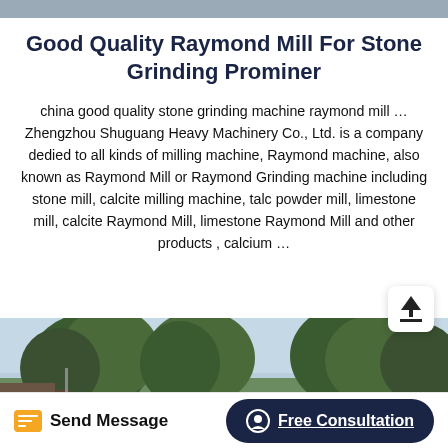Good Quality Raymond Mill For Stone Grinding Prominer
china good quality stone grinding machine raymond mill … Zhengzhou Shuguang Heavy Machinery Co., Ltd. is a company dedied to all kinds of milling machine, Raymond machine, also known as Raymond Mill or Raymond Grinding machine including stone mill, calcite milling machine, talc powder mill, limestone mill, calcite Raymond Mill, limestone Raymond Mill and other products , calcium …
[Figure (photo): Outdoor photo showing trees against a light blue sky with a building structure visible at the bottom left.]
Send Message   Free Consultation